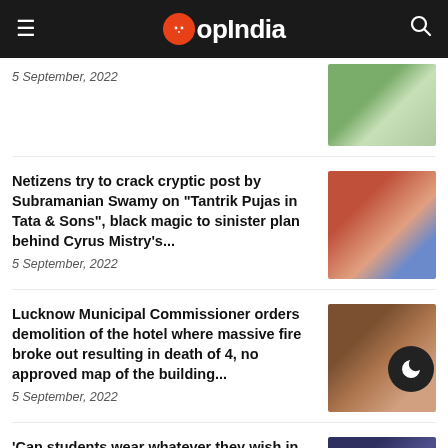OpIndia
5 September, 2022
Netizens try to crack cryptic post by Subramanian Swamy on "Tantrik Pujas in Tata & Sons", black magic to sinister plan behind Cyrus Mistry's...
5 September, 2022
Lucknow Municipal Commissioner orders demolition of the hotel where massive fire broke out resulting in death of 4, no approved map of the building...
5 September, 2022
'Can students wear whatever they wish in institutes that have uniforms?' SC asks during the